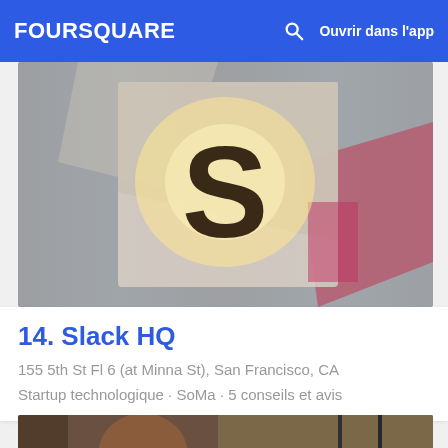FOURSQUARE | Ouvrir dans l'app
[Figure (photo): Photo of illuminated letter S on a wooden panel background with colorful geometric shapes]
14. Slack HQ
155 5th St Fl 6 (at Minna St), San Francisco, CA
Startup technologique · SoMa · 5 conseils et avis
[Figure (photo): Photo of a person wearing a red shirt in what appears to be an indoor venue]